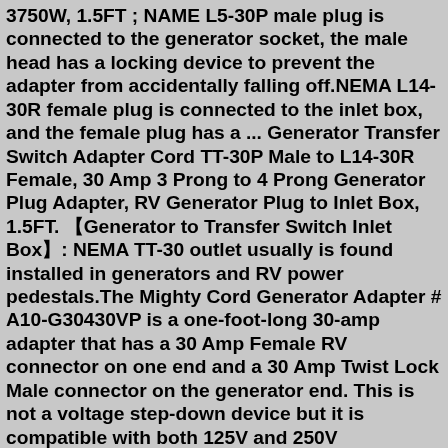3750W, 1.5FT ; NAME L5-30P male plug is connected to the generator socket, the male head has a locking device to prevent the adapter from accidentally falling off.NEMA L14-30R female plug is connected to the inlet box, and the female plug has a ... Generator Transfer Switch Adapter Cord TT-30P Male to L14-30R Female, 30 Amp 3 Prong to 4 Prong Generator Plug Adapter, RV Generator Plug to Inlet Box, 1.5FT. 【Generator to Transfer Switch Inlet Box】: NEMA TT-30 outlet usually is found installed in generators and RV power pedestals.The Mighty Cord Generator Adapter # A10-G30430VP is a one-foot-long 30-amp adapter that has a 30 Amp Female RV connector on one end and a 30 Amp Twist Lock Male connector on the generator end. This is not a voltage step-down device but it is compatible with both 125V and 250V setups.Make sure this fits by entering your model number.; Generator Adapter Cord NEMA L5-30P to L14-30R, Outdoor Camping Power Supply 30 Amp, 125/250V, 3750W, 1.5FT ; NAME L5-30P male plug is connected to the generator socket, the male head b